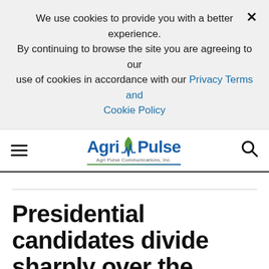We use cookies to provide you with a better experience. × By continuing to browse the site you are agreeing to our use of cookies in accordance with our Privacy Terms and Cookie Policy
[Figure (logo): Agri-Pulse logo with leaf graphic and tagline 'Agri Pulse Communications, Inc.']
Presidential candidates divide sharply over the